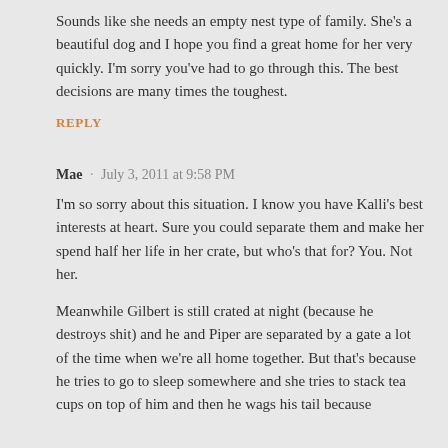Sounds like she needs an empty nest type of family. She's a beautiful dog and I hope you find a great home for her very quickly. I'm sorry you've had to go through this. The best decisions are many times the toughest.
REPLY
Mae · July 3, 2011 at 9:58 PM
I'm so sorry about this situation. I know you have Kalli's best interests at heart. Sure you could separate them and make her spend half her life in her crate, but who's that for? You. Not her.
Meanwhile Gilbert is still crated at night (because he destroys shit) and he and Piper are separated by a gate a lot of the time when we're all home together. But that's because he tries to go to sleep somewhere and she tries to stack tea cups on top of him and then he wags his tail because